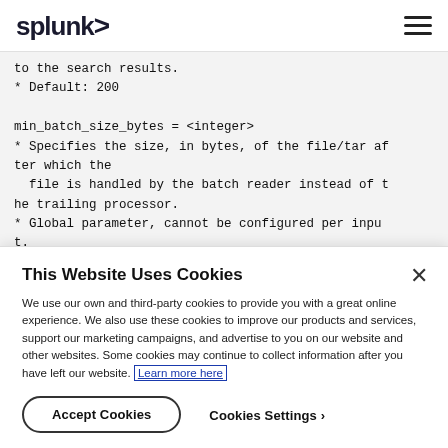splunk> [hamburger menu icon]
to the search results.
* Default: 200

min_batch_size_bytes = <integer>
* Specifies the size, in bytes, of the file/tar after which the
  file is handled by the batch reader instead of the trailing processor.
* Global parameter, cannot be configured per input.
* NOTE: Configuring this to a very small value cou
This Website Uses Cookies
We use our own and third-party cookies to provide you with a great online experience. We also use these cookies to improve our products and services, support our marketing campaigns, and advertise to you on our website and other websites. Some cookies may continue to collect information after you have left our website. Learn more here
Accept Cookies
Cookies Settings ›